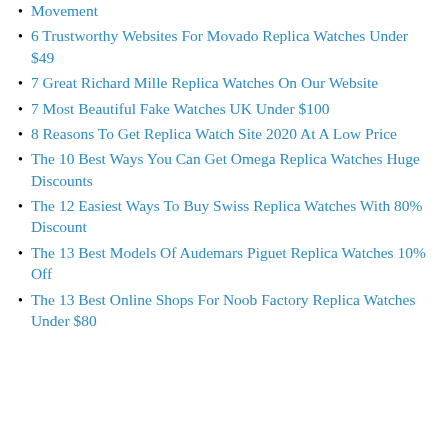Movement
6 Trustworthy Websites For Movado Replica Watches Under $49
7 Great Richard Mille Replica Watches On Our Website
7 Most Beautiful Fake Watches UK Under $100
8 Reasons To Get Replica Watch Site 2020 At A Low Price
The 10 Best Ways You Can Get Omega Replica Watches Huge Discounts
The 12 Easiest Ways To Buy Swiss Replica Watches With 80% Discount
The 13 Best Models Of Audemars Piguet Replica Watches 10% Off
The 13 Best Online Shops For Noob Factory Replica Watches Under $80